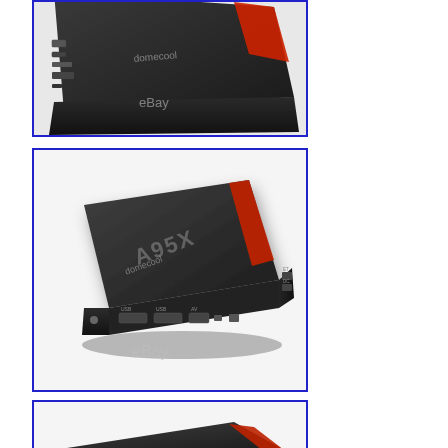[Figure (photo): Close-up top/side view of a black Android TV box (A95X) with red stripe accent, showing ports on the side. Watermarks: 'domecool' and 'eBay'.]
[Figure (photo): Three-quarter angle overhead view of a black Android TV box (A95X) with red stripe accent, showing ports on front and right sides. Watermarks: 'domecool' and 'eBay'.]
[Figure (photo): Partial view from below/side of a black Android TV box (A95X) with red stripe, partially cropped at bottom of page.]